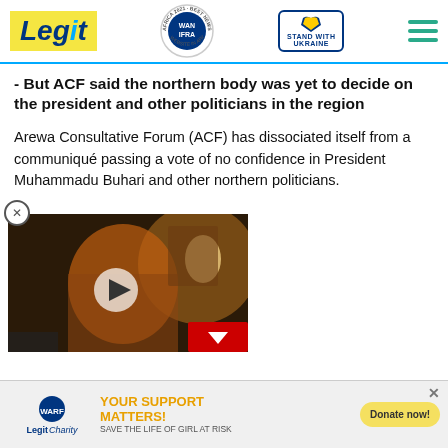Legit — WAN-IFRA Best News Website in Africa 2021
- But ACF said the northern body was yet to decide on the president and other politicians in the region
Arewa Consultative Forum (ACF) has dissociated itself from a communiqué passing a vote of no confidence in President Muhammadu Buhari and other northern politicians.
[Figure (screenshot): Video thumbnail showing a person in an orange outfit in a dimly lit room, with a play button overlay and a down-chevron button at bottom right.]
[Figure (screenshot): Bottom ad banner for Legit Charity / WARF: YOUR SUPPORT MATTERS! SAVE THE LIFE OF GIRL AT RISK. Donate now! button.]